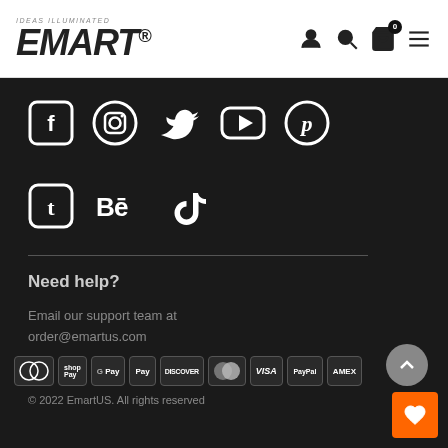[Figure (logo): EMART logo with tagline IDEAS ILLUMINATED and registered trademark symbol, with navigation icons (user, search, cart with 0 badge, menu)]
[Figure (infographic): Social media icons row 1: Facebook, Instagram, Twitter, YouTube, Pinterest]
[Figure (infographic): Social media icons row 2: Tumblr, Behance, TikTok]
Need help?
Email our support team at order@emartus.com
[Figure (infographic): Payment method icons: Diners Club, Shop Pay, Google Pay, Apple Pay, Discover, Mastercard, Visa, PayPal, Amex]
© 2022 EmartUS. All rights reserved